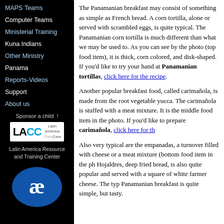MAPS Teams
Computer Teams
Ministerial Training
Kuna Indians
Other Ministry
Panama
Reports-Videos
Support
About us
[Figure (logo): LACC Latin America ChildCare logo with white text on white background box]
Latin America Resource and Training Center
[Figure (logo): Blue oval logo with white stylized double-e or ae symbol]
The Panamanian breakfast may consist of something as simple as French bread. A corn tortilla, alone or served with scrambled eggs, is quite typical. The Panamanian corn tortilla is much different than what we may be used to. As you can see by the photo (top food item), it is thick, corn colored, and disk-shaped. If you'd like to try your hand at Panamanian tortillas, click here for the recipe.
Another popular breakfast food, called carimañola, is made from the root vegetable yucca. The carimañola is stuffed with a meat mixture. It is the middle food item in the photo. If you'd like to prepare carimañola, click here for the recipe.
Also very typical are the empanadas, a turnover filled with cheese or a meat mixture (bottom food item in the photo). Hojaldres, deep fried bread, is also quite popular and served with a square of white farmer cheese. The typical Panamanian breakfast is quite simple, but tasty.